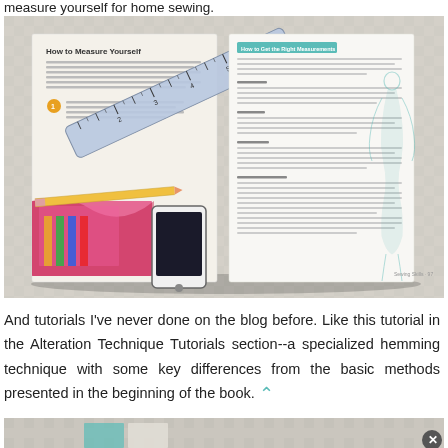measure yourself for home sewing.
[Figure (photo): Open book showing 'How to Measure Yourself' pages with a tape measure, pencil, colorful fabric, and smartphone on top]
And tutorials I've never done on the blog before. Like this tutorial in the Alteration Technique Tutorials section--a specialized hemming technique with some key differences from the basic methods presented in the beginning of the book.
[Figure (photo): Bottom of another book page visible, partially cropped]